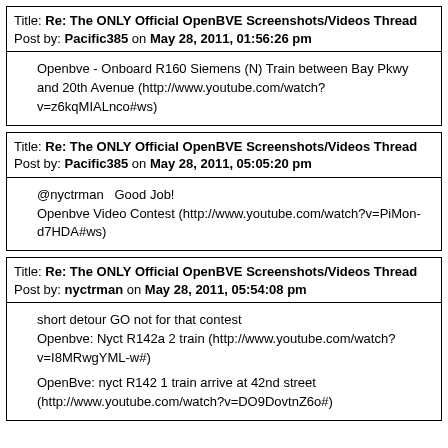Title: Re: The ONLY Official OpenBVE Screenshots/Videos Thread
Post by: Pacific385 on May 28, 2011, 01:56:26 pm
Openbve - Onboard R160 Siemens (N) Train between Bay Pkwy and 20th Avenue (http://www.youtube.com/watch?v=z6kqMIALnco#ws)
Title: Re: The ONLY Official OpenBVE Screenshots/Videos Thread
Post by: Pacific385 on May 28, 2011, 05:05:20 pm
@nyctrman   Good Job!
Openbve Video Contest (http://www.youtube.com/watch?v=PiMon-d7HDA#ws)
Title: Re: The ONLY Official OpenBVE Screenshots/Videos Thread
Post by: nyctrman on May 28, 2011, 05:54:08 pm
short detour GO not for that contest
Openbve: Nyct R142a 2 train (http://www.youtube.com/watch?v=I8MRwgYML-w#)

OpenBve: nyct R142 1 train arrive at 42nd street (http://www.youtube.com/watch?v=DO9DovtnZ6o#)